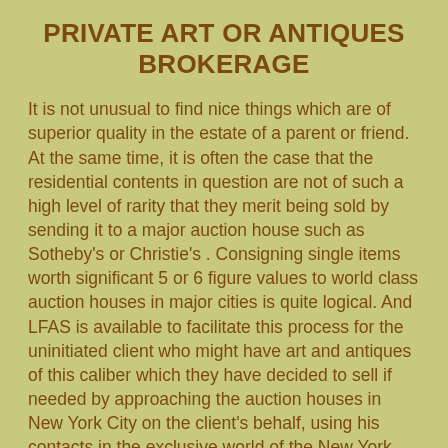PRIVATE ART OR ANTIQUES BROKERAGE
It is not unusual to find nice things which are of superior quality in the estate of a parent or friend. At the same time, it is often the case that the residential contents in question are not of such a high level of rarity that they merit being sold by sending it to a major auction house such as Sotheby's or Christie's . Consigning single items worth significant 5 or 6 figure values to world class auction houses in major cities is quite logical. And LFAS is available to facilitate this process for the uninitiated client who might have art and antiques of this caliber which they have decided to sell if needed by approaching the auction houses in New York City on the client's behalf, using his contacts in the exclusive world of the New York City auction houses to ensure the process is made easier for all